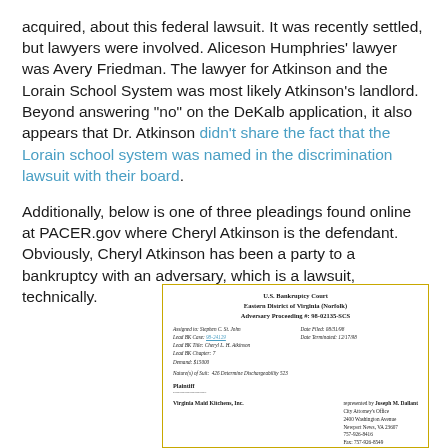acquired, about this federal lawsuit. It was recently settled, but lawyers were involved. Aliceson Humphries' lawyer was Avery Friedman. The lawyer for Atkinson and the Lorain School System was most likely Atkinson's landlord. Beyond answering "no" on the DeKalb application, it also appears that Dr. Atkinson didn't share the fact that the Lorain school system was named in the discrimination lawsuit with their board.
Additionally, below is one of three pleadings found online at PACER.gov where Cheryl Atkinson is the defendant. Obviously, Cheryl Atkinson has been a party to a bankruptcy with an adversary, which is a lawsuit, technically.
[Figure (other): U.S. Bankruptcy Court document - Eastern District of Virginia (Norfolk), Adversary Proceeding #: 98-02135-SCS. Assigned to Stephen C. St. John. Lead BK Case: 98-24129. Lead BK Title: Cheryl L. H. Atkinson. Lead BK Chapter: 7. Demand: $15000. Nature(s) of Suit: 426 Determine Dischargeability 523. Plaintiff: Virginia Maid Kitchens, Inc., represented by Joseph M. Dallant, City Attorney's Office, 2400 Washington Avenue, Newport News, VA 23607, 757-926-8416, Fax: 757-926-8549, Email: jdallant@nngov.com. Date Filed: 08/31/98. Date Terminated: 12/17/98.]